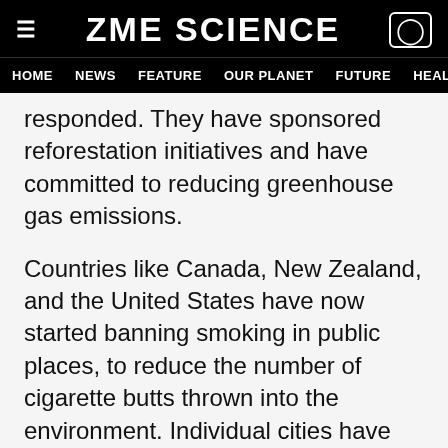ZME SCIENCE | HOME | NEWS | FEATURE | OUR PLANET | FUTURE | HEALTH
responded. They have sponsored reforestation initiatives and have committed to reducing greenhouse gas emissions.
Countries like Canada, New Zealand, and the United States have now started banning smoking in public places, to reduce the number of cigarette butts thrown into the environment. Individual cities have also adopted new measures to deal with the scourge of disposed of cigarette butts, much like they enacted bills to regulate the use of plastic bags and bottles.
Light at the End